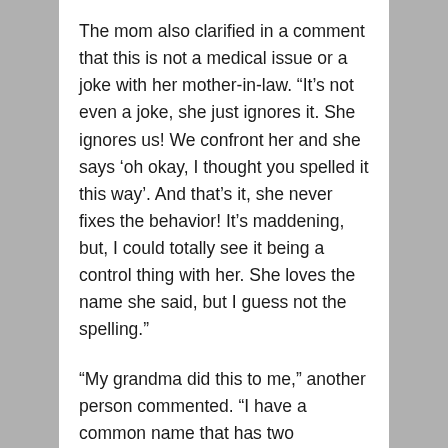The mom also clarified in a comment that this is not a medical issue or a joke with her mother-in-law. “It’s not even a joke, she just ignores it. She ignores us! We confront her and she says ‘oh okay, I thought you spelled it this way’. And that’s it, she never fixes the behavior! It’s maddening, but, I could totally see it being a control thing with her. She loves the name she said, but I guess not the spelling.”
“My grandma did this to me,” another person commented. “I have a common name that has two acceptable ways to spell it. She thought my parents picked the wrong way so she always consistently spelled it wrong and …”